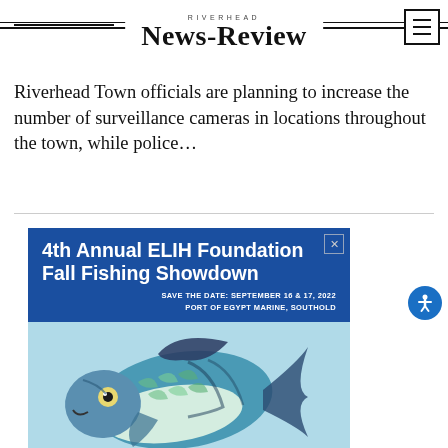RIVERHEAD NEWS-REVIEW
Riverhead Town officials are planning to increase the number of surveillance cameras in locations throughout the town, while police...
[Figure (illustration): Advertisement for 4th Annual ELIH Foundation Fall Fishing Showdown. Blue header with white bold text reading '4th Annual ELIH Foundation Fall Fishing Showdown'. Sub-text: 'SAVE THE DATE: SEPTEMBER 16 & 17, 2022 PORT OF EGYPT MARINE, SOUTHOLD'. Below is an illustrated fish on a light blue background. Footer shows ELIH Foundation logo.]